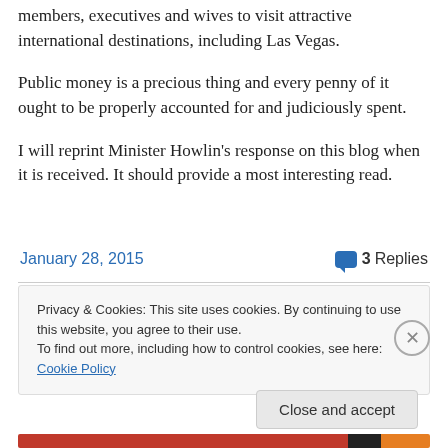members, executives and wives to visit attractive international destinations, including Las Vegas.
Public money is a precious thing and every penny of it ought to be properly accounted for and judiciously spent.
I will reprint Minister Howlin's response on this blog when it is received. It should provide a most interesting read.
January 28, 2015
3 Replies
Privacy & Cookies: This site uses cookies. By continuing to use this website, you agree to their use.
To find out more, including how to control cookies, see here: Cookie Policy
Close and accept